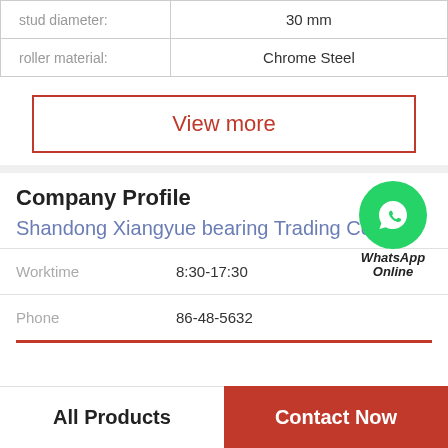| Property | Value |
| --- | --- |
| stud diameter: | 30 mm |
| roller material: | Chrome Steel |
View more
Company Profile
[Figure (logo): WhatsApp green circle icon with phone handset, labeled WhatsApp Online]
Shandong Xiangyue bearing Trading Co., Ltd
Worktime   8:30-17:30
Phone   86-48-5632
All Products
Contact Now